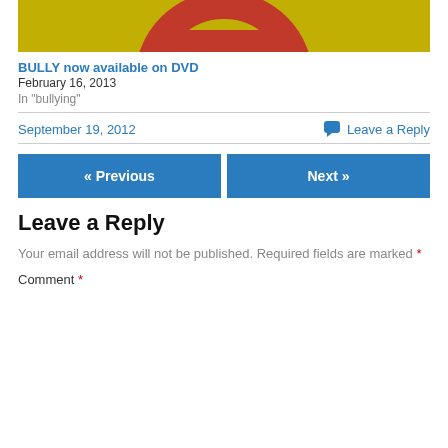[Figure (photo): Partial view of a yellow and red sign, likely a no-entry or prohibitory traffic sign, cropped at the top of the page.]
BULLY now available on DVD
February 16, 2013
In "bullying"
September 19, 2012
Leave a Reply
« Previous
Next »
Leave a Reply
Your email address will not be published. Required fields are marked *
Comment *